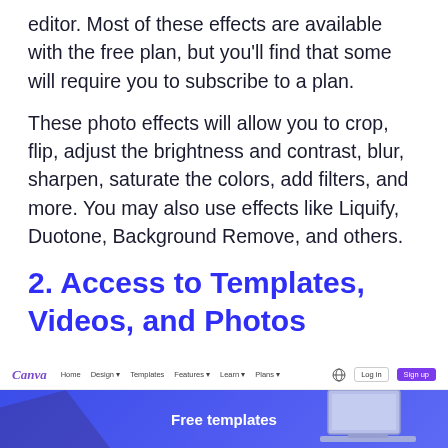editor. Most of these effects are available with the free plan, but you'll find that some will require you to subscribe to a plan.
These photo effects will allow you to crop, flip, adjust the brightness and contrast, blur, sharpen, saturate the colors, add filters, and more. You may also use effects like Liquify, Duotone, Background Remove, and others.
2. Access to Templates, Videos, and Photos
[Figure (screenshot): Screenshot of Canva website showing navigation bar with logo, menu items (Home, Design, Templates, Features, Learn, Plans), login and Sign up buttons, and a hero section with blue gradient background showing 'Free templates' text and a laptop image on the right.]